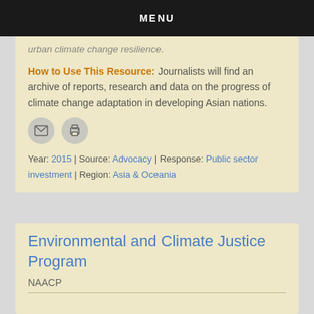MENU
urban climate change resilience.
How to Use This Resource: Journalists will find an archive of reports, research and data on the progress of climate change adaptation in developing Asian nations.
Year: 2015 | Source: Advocacy | Response: Public sector investment | Region: Asia & Oceania
Environmental and Climate Justice Program
NAACP